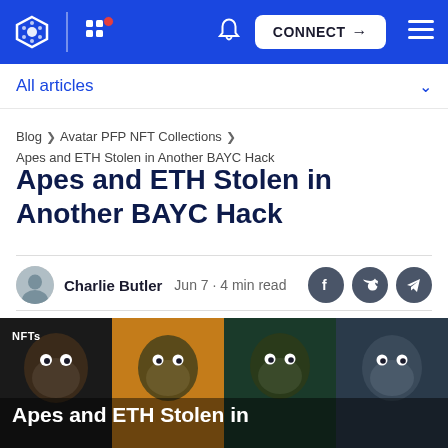CONNECT navigation bar with logo, grid, bell, connect button, hamburger menu
All articles
Blog > Avatar PFP NFT Collections > Apes and ETH Stolen in Another BAYC Hack
Apes and ETH Stolen in Another BAYC Hack
Charlie Butler  Jun 7 · 4 min read
[Figure (photo): Hero image showing a grid of Bored Ape NFT characters with dark backgrounds, with overlay text 'NFTs' and 'Apes and ETH Stolen in']